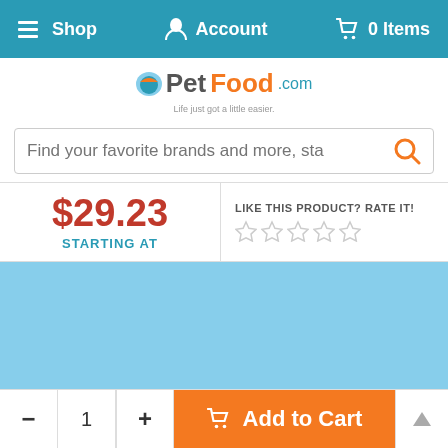Shop | Account | 0 Items
[Figure (logo): PetFood.com logo with tagline 'Life just got a little easier']
Find your favorite brands and more, sta
$29.23 STARTING AT
LIKE THIS PRODUCT? RATE IT! (5 empty stars)
[Figure (photo): Light blue product image placeholder area]
By Continuing to use our site, you consent to our use of cookies to improve your experience. Learn more
- 1 + Add to Cart ▲